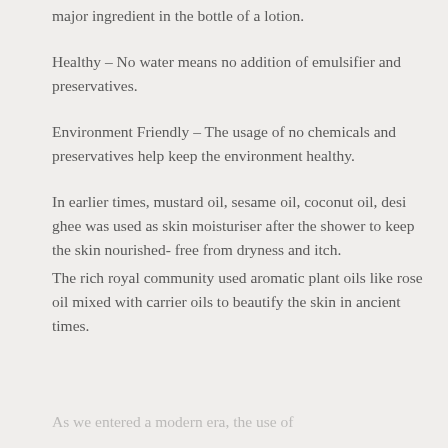major ingredient in the bottle of a lotion.
Healthy – No water means no addition of emulsifier and preservatives.
Environment Friendly – The usage of no chemicals and preservatives help keep the environment healthy.
In earlier times, mustard oil, sesame oil, coconut oil, desi ghee was used as skin moisturiser after the shower to keep the skin nourished- free from dryness and itch.
The rich royal community used aromatic plant oils like rose oil mixed with carrier oils to beautify the skin in ancient times.
As we entered a modern era, the use of...